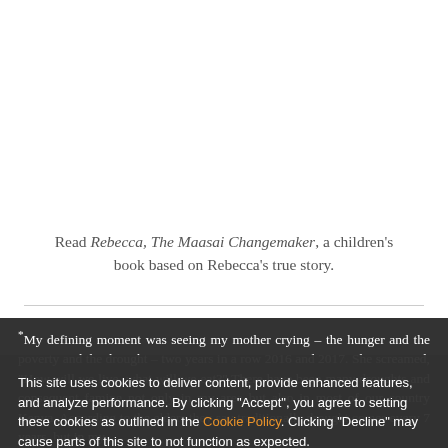Read Rebecca, The Maasai Changemaker, a children's book based on Rebecca's true story.
"My defining moment was seeing my mother crying – the hunger and the poverty and the drought – two years in a row 2016 and 2017. She screamed, "How will we live, what will we eat?" There have been many droughts and consequent famine not only in my area but also in most of our country Kenya. According to the elders they say traditionally drought comes every 7 years, but in my
This site uses cookies to deliver content, provide enhanced features, and analyze performance. By clicking "Accept", you agree to setting these cookies as outlined in the Cookie Policy. Clicking "Decline" may cause parts of this site to not function as expected.